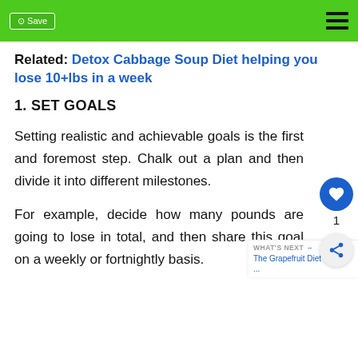Save | [hamburger menu]
Related: Detox Cabbage Soup Diet helping you lose 10+lbs in a week
1. SET GOALS
Setting realistic and achievable goals is the first and foremost step. Chalk out a plan and then divide it into different milestones.
For example, decide how many pounds are going to lose in total, and then share this goal on a weekly or fortnightly basis.